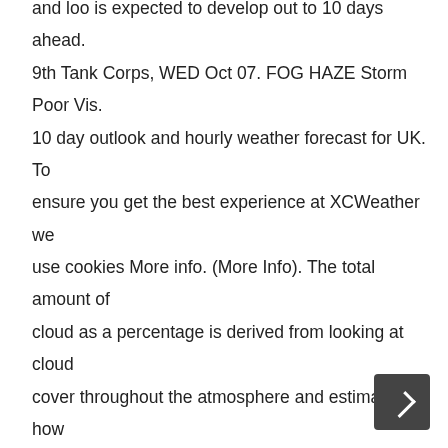and loo is expected to develop out to 10 days ahead. 9th Tank Corps, WED Oct 07. FOG HAZE Storm Poor Vis. 10 day outlook and hourly weather forecast for UK. To ensure you get the best experience at XCWeather we use cookies More info. (More Info). The total amount of cloud as a percentage is derived from looking at cloud cover throughout the atmosphere and estimating how these combine when looked at from the ground. Latest weather warnings, temparature, rain, wind speed, pollen count and UV index. Protection Crossword Clue. (More Info). This time is corrected for local time zones and where possible for daylight saving times. Buller Barracks Aldershot,